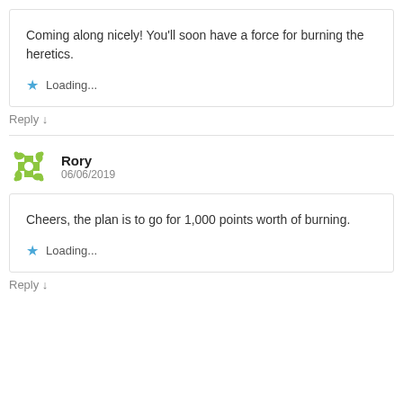Coming along nicely! You'll soon have a force for burning the heretics.
Loading...
Reply ↓
Rory
06/06/2019
Cheers, the plan is to go for 1,000 points worth of burning.
Loading...
Reply ↓